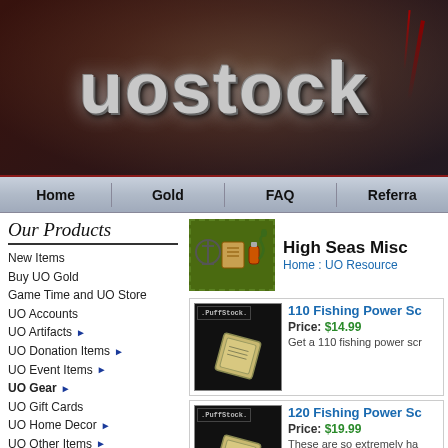[Figure (logo): uostock logo with stylized stone/metal lettering on dark atmospheric background]
Home | Gold | FAQ | Referr...
Our Products
New Items
Buy UO Gold
Game Time and UO Store
UO Accounts
UO Artifacts ▶
UO Donation Items ▶
UO Event Items ▶
UO Gear ▶
UO Gift Cards
UO Home Decor ▶
UO Other Items ▶
UO Package Deals
UO Pets ▶
UO Power Leveling
UO Premier Suits
High Seas Misc...
Home : UO Resource...
[Figure (screenshot): PuffStock product image for 110 Fishing Power Scroll]
110 Fishing Power Sc...
Price: $14.99
Get a 110 fishing power scr...
[Figure (screenshot): PuffStock product image for 120 Fishing Power Scroll]
120 Fishing Power Sc...
Price: $19.99
These are so extremely ha... Get them while they last I c...